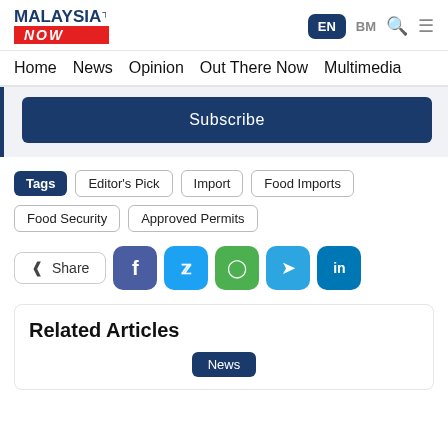Malaysia Now — EN | BM | Home | News | Opinion | Out There Now | Multimedia
Subscribe
Tags: Editor's Pick | Import | Food Imports | Food Security | Approved Permits
Share
Related Articles
News